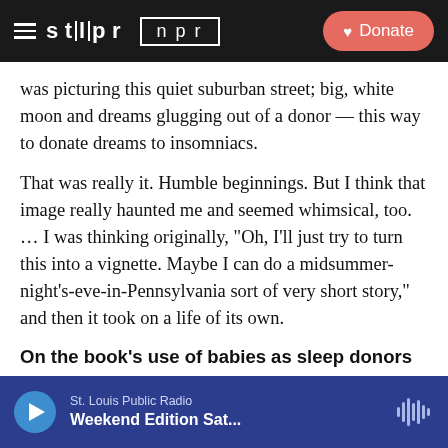STLPR NPR — Donate
was picturing this quiet suburban street; big, white moon and dreams glugging out of a donor — this way to donate dreams to insomniacs.
That was really it. Humble beginnings. But I think that image really haunted me and seemed whimsical, too. … I was thinking originally, "Oh, I'll just try to turn this into a vignette. Maybe I can do a midsummer-night's-eve-in-Pennsylvania sort of very short story," and then it took on a life of its own.
On the book's use of babies as sleep donors
In our America, most people would agree that an infant
St. Louis Public Radio — Weekend Edition Sat...